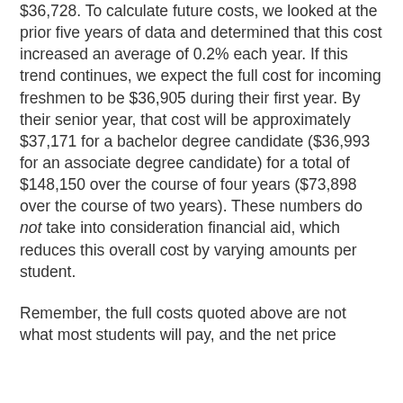$36,728. To calculate future costs, we looked at the prior five years of data and determined that this cost increased an average of 0.2% each year. If this trend continues, we expect the full cost for incoming freshmen to be $36,905 during their first year. By their senior year, that cost will be approximately $37,171 for a bachelor degree candidate ($36,993 for an associate degree candidate) for a total of $148,150 over the course of four years ($73,898 over the course of two years). These numbers do not take into consideration financial aid, which reduces this overall cost by varying amounts per student.
Remember, the full costs quoted above are not what most students will pay, and the net price